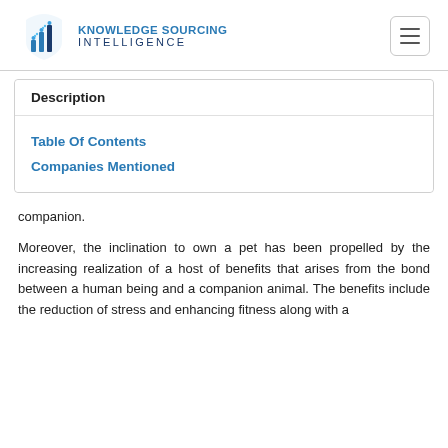KNOWLEDGE SOURCING INTELLIGENCE
Description
Table Of Contents
Companies Mentioned
companion.
Moreover, the inclination to own a pet has been propelled by the increasing realization of a host of benefits that arises from the bond between a human being and a companion animal. The benefits include the reduction of stress and enhancing fitness along with a